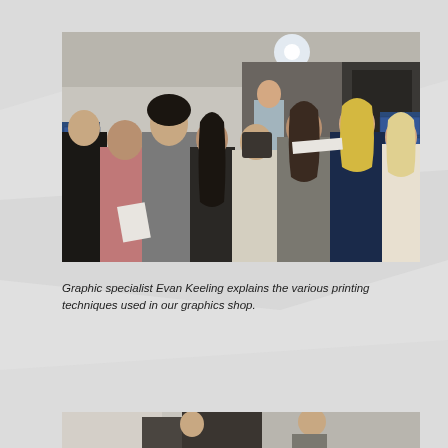[Figure (photo): Group of people standing around a table in a graphics/print shop. A man at the far side of the table (Evan Keeling) appears to be explaining something. Several people face him with their backs to the camera. The room has industrial shelving and printing equipment in the background.]
Graphic specialist Evan Keeling explains the various printing techniques used in our graphics shop.
[Figure (photo): Partial view of a second photo at the bottom of the page, partially cut off.]